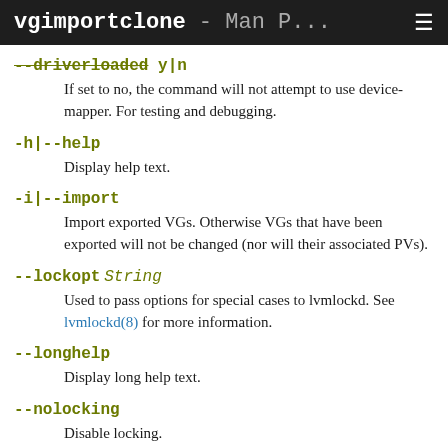vgimportclone - Man P...
--driverloaded y|n
If set to no, the command will not attempt to use device-mapper. For testing and debugging.
-h|--help
Display help text.
-i|--import
Import exported VGs. Otherwise VGs that have been exported will not be changed (nor will their associated PVs).
--lockopt String
Used to pass options for special cases to lvmlockd. See lvmlockd(8) for more information.
--longhelp
Display long help text.
--nolocking
Disable locking.